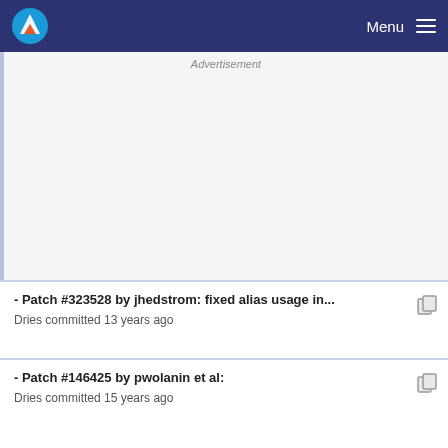Menu
[Figure (other): Advertisement or empty content block with partial text visible at top]
- Patch #323528 by jhedstrom: fixed alias usage in... Dries committed 13 years ago
- Patch #146425 by pwolanin et al: Dries committed 15 years ago
- Patch #257730 by Senpai: code clean-up for boo... Dries committed 14...